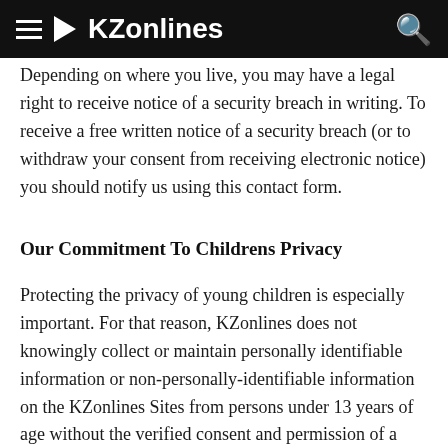KZonlines
Depending on where you live, you may have a legal right to receive notice of a security breach in writing. To receive a free written notice of a security breach (or to withdraw your consent from receiving electronic notice) you should notify us using this contact form.
Our Commitment To Childrens Privacy
Protecting the privacy of young children is especially important. For that reason, KZonlines does not knowingly collect or maintain personally identifiable information or non-personally-identifiable information on the KZonlines Sites from persons under 13 years of age without the verified consent and permission of a parent or legal guardian. If you are under 13 years of age, then please do not use or access the KZonlines Sites at any time or in any